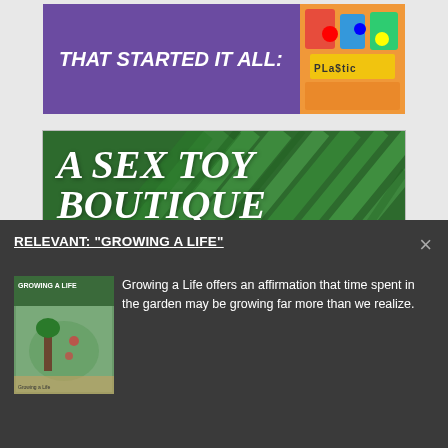[Figure (illustration): Purple banner ad with white bold italic text 'THAT STARTED IT ALL:' and a colorful illustrated image on the right with text 'PLASTIC']
[Figure (illustration): Green tropical leaf background banner ad with large white serif italic text 'A SEX TOY BOUTIQUE FOR EVERY BODY' and a circular 'bop' logo with 'she' text on the right]
Vibrator Vixen
RELEVANT: "GROWING A LIFE"
[Figure (photo): Book cover image for 'Growing a Life' showing a garden scene]
Growing a Life offers an affirmation that time spent in the garden may be growing far more than we realize.